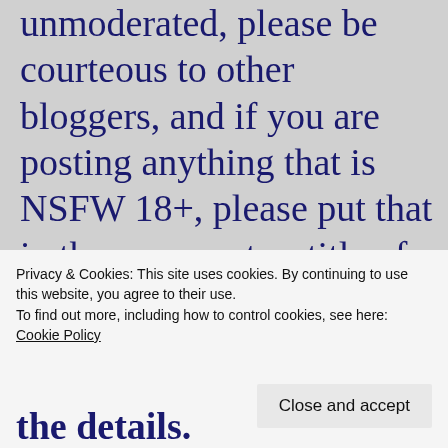unmoderated, please be courteous to other bloggers, and if you are posting anything that is NSFW 18+, please put that in the comment or title of your blog.

If you wish to report inappropriate comments, posts
Privacy & Cookies: This site uses cookies. By continuing to use this website, you agree to their use.
To find out more, including how to control cookies, see here: Cookie Policy
Close and accept
the details.